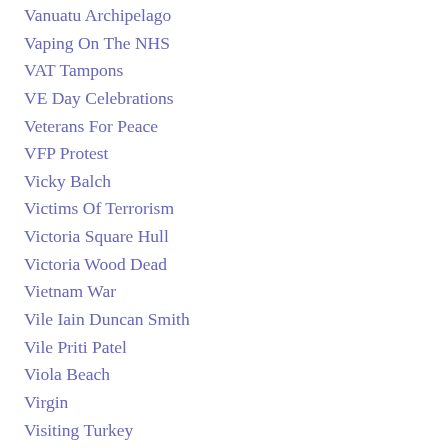Vanuatu Archipelago
Vaping On The NHS
VAT Tampons
VE Day Celebrations
Veterans For Peace
VFP Protest
Vicky Balch
Victims Of Terrorism
Victoria Square Hull
Victoria Wood Dead
Vietnam War
Vile Iain Duncan Smith
Vile Priti Patel
Viola Beach
Virgin
Visiting Turkey
Vitamin D
Viv Nicholson